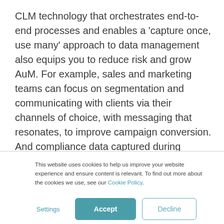CLM technology that orchestrates end-to-end processes and enables a 'capture once, use many' approach to data management also equips you to reduce risk and grow AuM. For example, sales and marketing teams can focus on segmentation and communicating with clients via their channels of choice, with messaging that resonates, to improve campaign conversion. And compliance data captured during onboarding can be used to inform next best actions.
This website uses cookies to help us improve your website experience and ensure content is relevant. To find out more about the cookies we use, see our Cookie Policy.